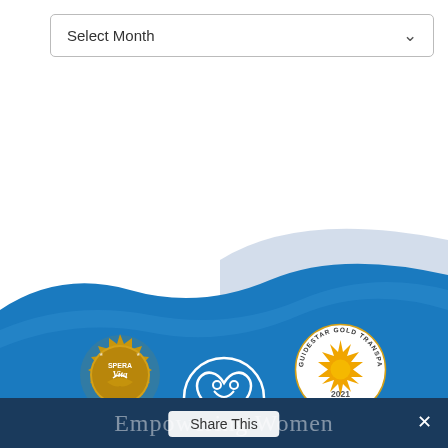[Figure (screenshot): Select Month dropdown input field with arrow]
[Figure (illustration): Blue wave background with water wave shapes in white and blue]
[Figure (logo): SperaVita gold seal/badge logo on left side of blue section]
[Figure (logo): GuideStar Gold Transparency 2021 badge on right side of blue section]
[Figure (logo): White circular heart/dove logo in center of blue section]
Empowering Women
Share This
✕